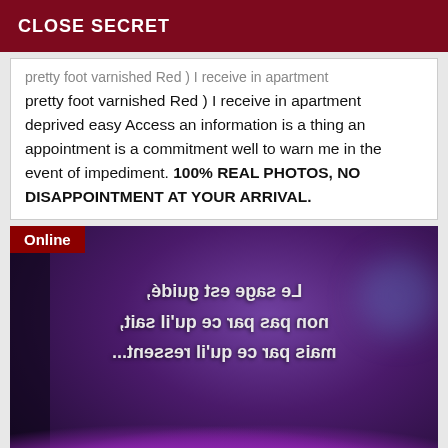CLOSE SECRET
pretty foot varnished Red ) I receive in apartment deprived easy Access an information is a thing an appointment is a commitment well to warn me in the event of impediment. 100% REAL PHOTOS, NO DISAPPOINTMENT AT YOUR ARRIVAL.
[Figure (photo): Photo with purple bokeh background and mirrored French text reading 'Le sage est guidé, non pas par ce qu'il sait, mais par ce qu'il ressent...' displayed in reverse. Purple flower shapes visible at bottom. 'Online' badge in top-left corner.]